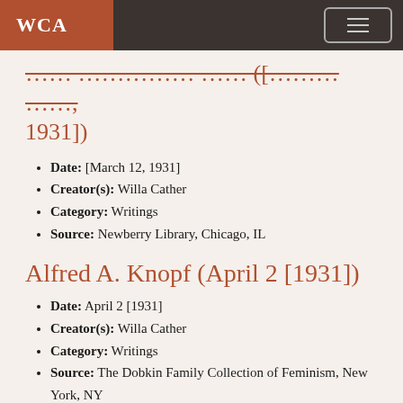WCA
… [March 12, 1931])
Date: [March 12, 1931]
Creator(s): Willa Cather
Category: Writings
Source: Newberry Library, Chicago, IL
Alfred A. Knopf (April 2 [1931])
Date: April 2 [1931]
Creator(s): Willa Cather
Category: Writings
Source: The Dobkin Family Collection of Feminism, New York, NY